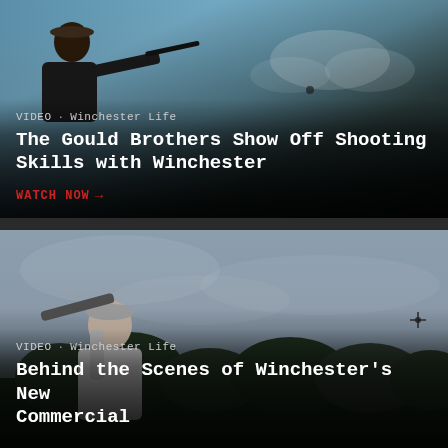[Figure (photo): Person shooting a rifle or shotgun against a blue sky with clouds]
VIDEO · Winchester Life
The Gould Brothers Show Off Shooting Skills with Winchester
WATCH NOW →
[Figure (photo): Person from behind holding a shotgun, aiming at a drone in overcast sky above trees]
VIDEO · Winchester Life
Behind the Scenes of Winchester's New Commercial